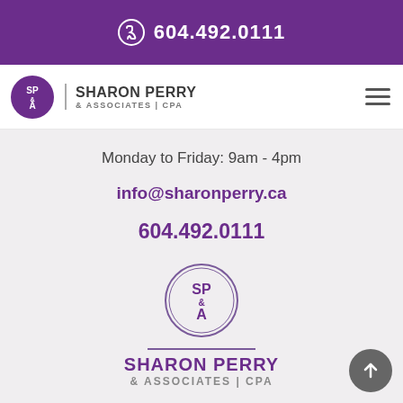604.492.0111
[Figure (logo): Sharon Perry & Associates CPA logo with SP&A circle emblem and company name]
Monday to Friday: 9am - 4pm
info@sharonperry.ca
604.492.0111
[Figure (logo): Sharon Perry & Associates CPA footer logo with SP&A circle emblem and full company name in purple]